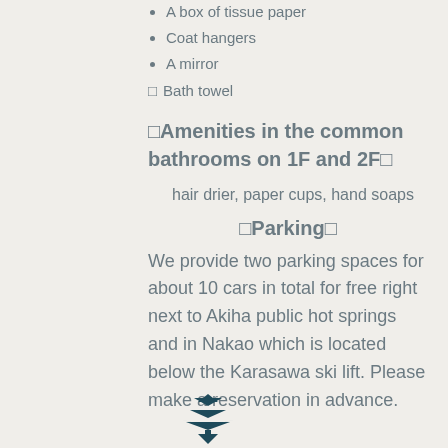A box of tissue paper
Coat hangers
A mirror
□  Bath towel
□Amenities in the common bathrooms on 1F and 2F□
hair drier, paper cups, hand soaps
□Parking□
We provide two parking spaces for about 10 cars in total for free right next to Akiha public hot springs and in Nakao which is located below the Karasawa ski lift. Please make a reservation in advance.
[Figure (logo): Dark teal decorative tree/leaf logo mark at bottom of page]